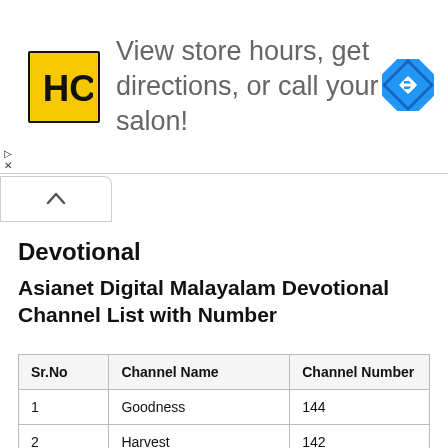[Figure (screenshot): Advertisement banner for HC (Hair Club) salon with logo, text 'View store hours, get directions, or call your salon!' and a blue navigation diamond icon]
Devotional
Asianet Digital Malayalam Devotional Channel List with Number
| Sr.No | Channel Name | Channel Number |
| --- | --- | --- |
| 1 | Goodness | 144 |
| 2 | Harvest | 142 |
| 3 | Powervision | 140 |